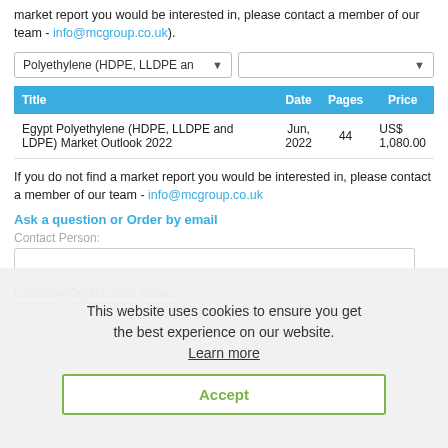market report you would be interested in, please contact a member of our team - info@mcgroup.co.uk).
[Figure (screenshot): Two dropdown select boxes: 'Polyethylene (HDPE, LLDPE an...' and an empty dropdown]
| Title | Date | Pages | Price |
| --- | --- | --- | --- |
| Egypt Polyethylene (HDPE, LLDPE and LDPE) Market Outlook 2022 | Jun, 2022 | 44 | US$ 1,080.00 |
If you do not find a market report you would be interested in, please contact a member of our team - info@mcgroup.co.uk
Ask a question or Order by email
Contact Person:
Company/Organization Name:
This website uses cookies to ensure you get the best experience on our website.
Learn more
Accept